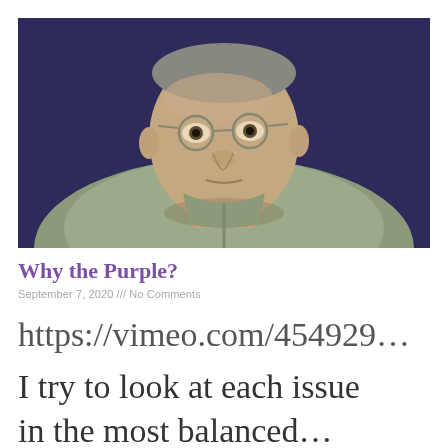[Figure (photo): Close-up portrait of an older man with round glasses and short hair, wearing a light grey/olive button-up shirt, leaning forward slightly, against a dark purple/navy background.]
Why the Purple?
September 7, 2020 /// No Comments
https://vimeo.com/454929…
I try to look at each issue
in the most balanced…